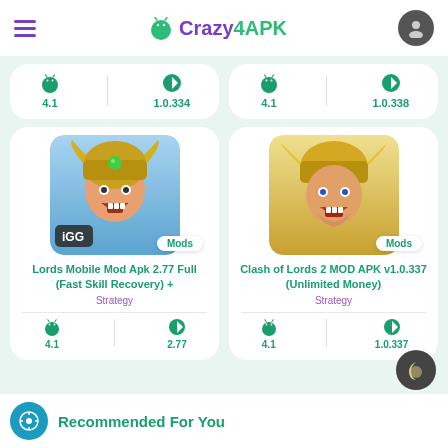Crazy4APK
[Figure (screenshot): Top partial app card row showing Android and version icons with values 4.1, 1.0.334 (left card) and 4.1, 1.0.338 (right card)]
[Figure (screenshot): Lords Mobile Mod Apk 2.77 Full (Fast Skill Recovery) + game card with Mods badge, Strategy category, Android 4.1, version 2.77]
[Figure (screenshot): Clash of Lords 2 MOD APK v1.0.337 (Unlimited Money) game card with Mods badge, Strategy category, Android 4.1, version 1.0.337]
Recommended For You